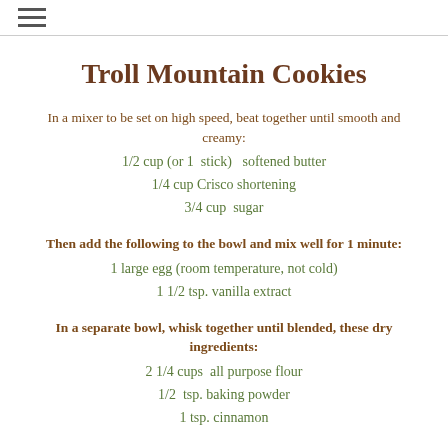≡
Troll Mountain Cookies
In a mixer to be set on high speed, beat together until smooth and creamy:
1/2 cup (or 1  stick)   softened butter
1/4 cup Crisco shortening
3/4 cup  sugar
Then add the following to the bowl and mix well for 1 minute:
1 large egg (room temperature, not cold)
1 1/2 tsp. vanilla extract
In a separate bowl, whisk together until blended, these dry ingredients:
2 1/4 cups  all purpose flour
1/2  tsp. baking powder
1 tsp. cinnamon